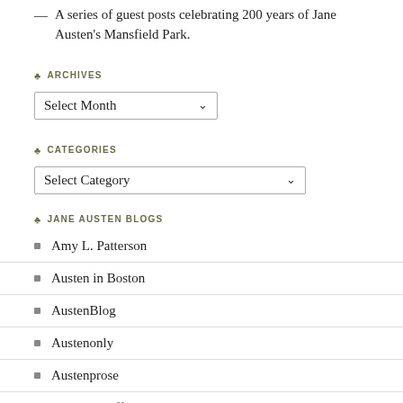— A series of guest posts celebrating 200 years of Jane Austen's Mansfield Park.
♣ ARCHIVES
[Figure (other): Dropdown select box labeled 'Select Month']
♣ CATEGORIES
[Figure (other): Dropdown select box labeled 'Select Category']
♣ JANE AUSTEN BLOGS
Amy L. Patterson
Austen in Boston
AustenBlog
Austenonly
Austenprose
Deborah Yaffe
Jane Austen en Castellano
Jane Austen in Vermont